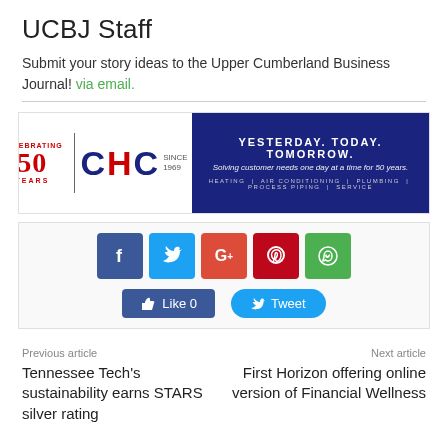UCBJ Staff
Submit your story ideas to the Upper Cumberland Business Journal! via email.
[Figure (logo): CHC 50 Years advertisement banner - Yesterday. Today. Tomorrow. Solving customer needs one day at a time for 50 years. Heating | Air Conditioning | Plumbing | Process Piping | Service]
[Figure (infographic): Social share buttons: Facebook, Twitter, Google+, Pinterest, WhatsApp icons, with Like 0 and Tweet buttons]
Previous article
Next article
Tennessee Tech's sustainability earns STARS silver rating
First Horizon offering online version of Financial Wellness